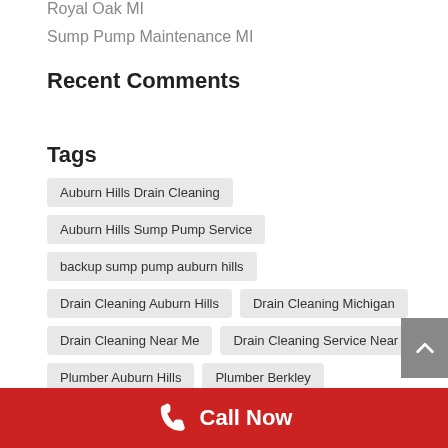Royal Oak MI
Sump Pump Maintenance MI
Recent Comments
Tags
Auburn Hills Drain Cleaning
Auburn Hills Sump Pump Service
backup sump pump auburn hills
Drain Cleaning Auburn Hills
Drain Cleaning Michigan
Drain Cleaning Near Me
Drain Cleaning Service Near Me
Plumber Auburn Hills
Plumber Berkley
Plumber Birmingham MI
Plumber Bloomfield Hills
Call Now